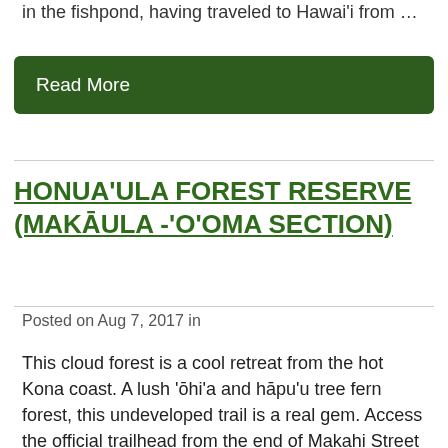in the fishpond, having traveled to Hawai'i from …
Read More
HONUA'ULA FOREST RESERVE (MAKĀULA -'O'OMA SECTION)
Posted on Aug 7, 2017 in
This cloud forest is a cool retreat from the hot Kona coast. A lush 'ōhi'a and hāpu'u tree fern forest, this undeveloped trail is a real gem. Access the official trailhead from the end of Makahi Street (off Kaloko Drive). Park on the side of the road and be respectful of neighboring properties.